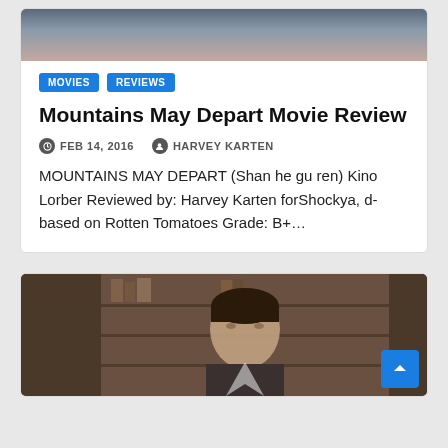[Figure (photo): Top portion of a movie still image, partially cropped at the top of the card]
MOVIES
REVIEWS
Mountains May Depart Movie Review
FEB 14, 2016   HARVEY KARTEN
MOUNTAINS MAY DEPART  (Shan he gu ren) Kino Lorber Reviewed by: Harvey Karten forShockya,  d-based on Rotten Tomatoes Grade: B+…
[Figure (photo): Photo of a man (actor) in front of a wooden bookshelf background, partially cropped at the bottom]